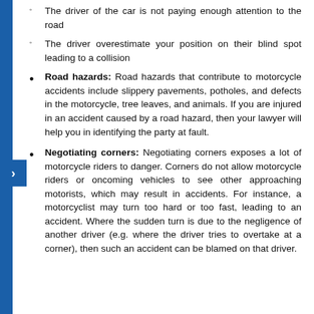The driver of the car is not paying enough attention to the road
The driver overestimate your position on their blind spot leading to a collision
Road hazards: Road hazards that contribute to motorcycle accidents include slippery pavements, potholes, and defects in the motorcycle, tree leaves, and animals. If you are injured in an accident caused by a road hazard, then your lawyer will help you in identifying the party at fault.
Negotiating corners: Negotiating corners exposes a lot of motorcycle riders to danger. Corners do not allow motorcycle riders or oncoming vehicles to see other approaching motorists, which may result in accidents. For instance, a motorcyclist may turn too hard or too fast, leading to an accident. Where the sudden turn is due to the negligence of another driver (e.g. where the driver tries to overtake at a corner), then such an accident can be blamed on that driver.